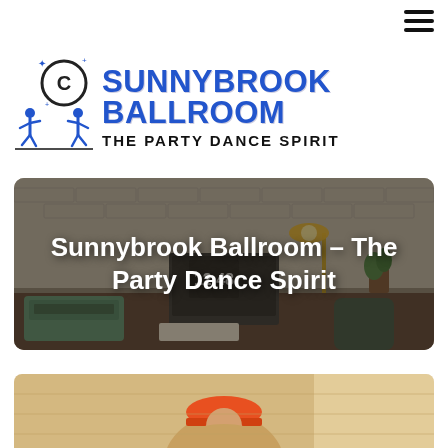[Figure (logo): Sunnybrook Ballroom logo with two dancing figures in blue, a circular emblem with C, and text 'SUNNYBROOK BALLROOM / THE PARTY DANCE SPIRIT']
[Figure (photo): Hero image of a desk with laptop, typewriter, clock showing 12:48, cat, and plant. Overlay text: 'Sunnybrook Ballroom – The Party Dance Spirit']
Sunnybrook Ballroom – The Party Dance Spirit
[Figure (photo): Partial photo at bottom showing a person with an orange hard hat, with light wooden background]